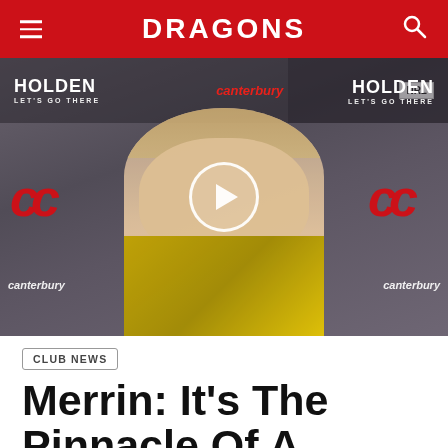DRAGONS
[Figure (photo): Video thumbnail of a rugby league player in Australian Kangaroos jersey at a press conference backdrop with Canterbury, Holden, and NRL branding. A white play button circle is overlaid in the center.]
CLUB NEWS
Merrin: It's The Pinnacle Of A Player's